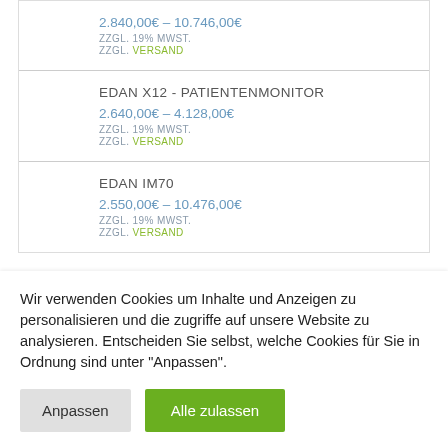2.840,00€ – 10.746,00€
ZZGL. 19% MWST.
ZZGL. VERSAND
EDAN X12 - PATIENTENMONITOR
2.640,00€ – 4.128,00€
ZZGL. 19% MWST.
ZZGL. VERSAND
EDAN IM70
2.550,00€ – 10.476,00€
ZZGL. 19% MWST.
ZZGL. VERSAND
Wir verwenden Cookies um Inhalte und Anzeigen zu personalisieren und die zugriffe auf unsere Website zu analysieren. Entscheiden Sie selbst, welche Cookies für Sie in Ordnung sind unter "Anpassen".
Anpassen
Alle zulassen